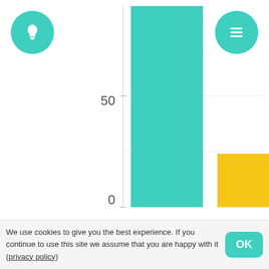[Figure (bar-chart): RYB top chart]
RYB
[Figure (bar-chart): Bottom chart]
We use cookies to give you the best experience. If you continue to use this site we assume that you are happy with it (privacy policy)